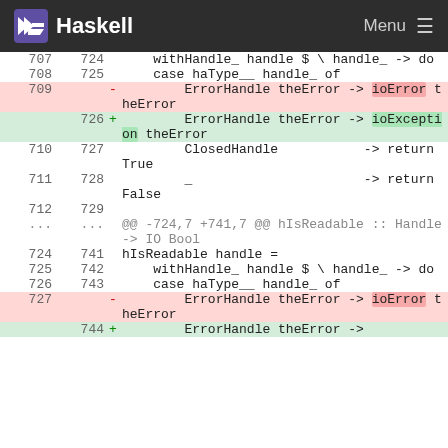Haskell   Menu
| old | new |  | code |
| --- | --- | --- | --- |
| 707 | 724 |  |     withHandle_ handle $ \ handle_ -> do |
| 708 | 725 |  |     case haType__ handle_ of |
| 709 |  | - |         ErrorHandle theError -> ioError theError |
|  | 726 | + |         ErrorHandle theError -> ioException theError |
| 710 | 727 |  |         ClosedHandle           -> return True |
| 711 | 728 |  |         _                      -> return False |
| 712 | 729 |  |  |
| ... | ... |  | @@ -724,7 +741,7 @@ hIsReadable :: Handle -> IO Bool |
| 724 | 741 |  | hIsReadable handle = |
| 725 | 742 |  |     withHandle_ handle $ \ handle_ -> do |
| 726 | 743 |  |     case haType__ handle_ of |
| 727 |  | - |         ErrorHandle theError -> ioError theError |
|  | 744 | + |         ErrorHandle theError -> |